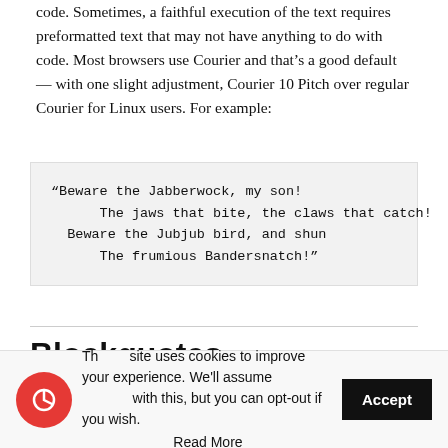code. Sometimes, a faithful execution of the text requires preformatted text that may not have anything to do with code. Most browsers use Courier and that’s a good default — with one slight adjustment, Courier 10 Pitch over regular Courier for Linux users. For example:
“Beware the Jabberwock, my son!
      The jaws that bite, the claws that catch!
  Beware the Jubjub bird, and shun
      The frumious Bandersnatch!”
Blockquotes
This site uses cookies to improve your experience. We'll assume ok with this, but you can opt-out if you wish. Read More